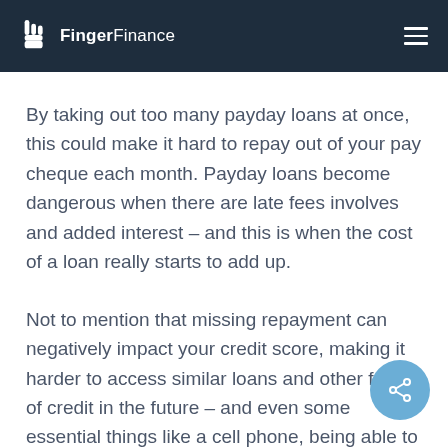FingerFinance
By taking out too many payday loans at once, this could make it hard to repay out of your pay cheque each month. Payday loans become dangerous when there are late fees involves and added interest – and this is when the cost of a loan really starts to add up.
Not to mention that missing repayment can negatively impact your credit score, making it harder to access similar loans and other forms of credit in the future – and even some essential things like a cell phone, being able to rent an apartment or